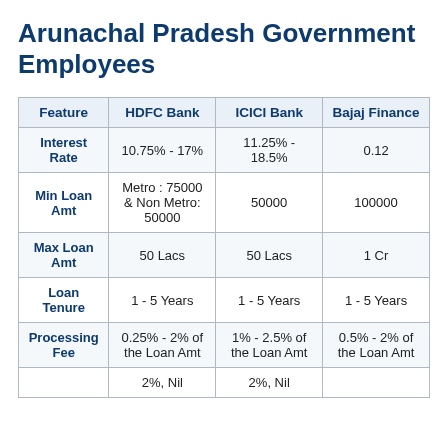Arunachal Pradesh Government Employees
| Feature | HDFC Bank | ICICI Bank | Bajaj Finance |
| --- | --- | --- | --- |
| Interest Rate | 10.75% - 17% | 11.25% - 18.5% | 0.12 |
| Min Loan Amt | Metro : 75000 & Non Metro: 50000 | 50000 | 100000 |
| Max Loan Amt | 50 Lacs | 50 Lacs | 1 Cr |
| Loan Tenure | 1 - 5 Years | 1 - 5 Years | 1 - 5 Years |
| Processing Fee | 0.25% - 2% of the Loan Amt | 1% - 2.5% of the Loan Amt | 0.5% - 2% of the Loan Amt |
|  | 2%, Nil | 2%, Nil |  |